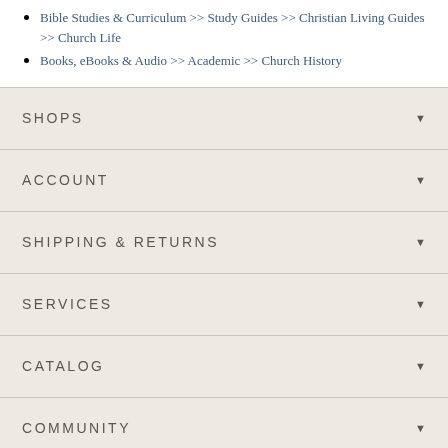Bible Studies & Curriculum >> Study Guides >> Christian Living Guides >> Church Life
Books, eBooks & Audio >> Academic >> Church History
SHOPS
ACCOUNT
SHIPPING & RETURNS
SERVICES
CATALOG
COMMUNITY
ABOUT US
HELP